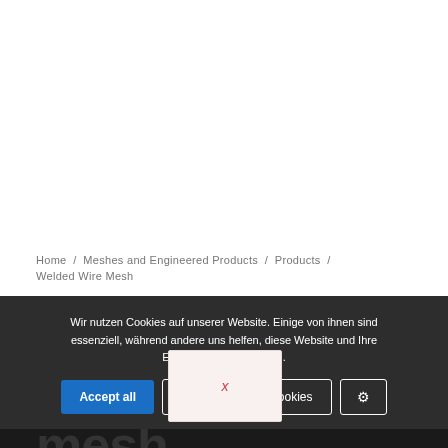[Figure (other): White empty image area at the top of the page]
Home / Meshes and Engineered Products / Products / Welded Wire Mesh
Wir nutzen Cookies auf unserer Website. Einige von ihnen sind essenziell, während andere uns helfen, diese Website und Ihre Erfahrung zu verbessern.
Accept all | Accept essential cookies | ⚙
Welded wire mesh